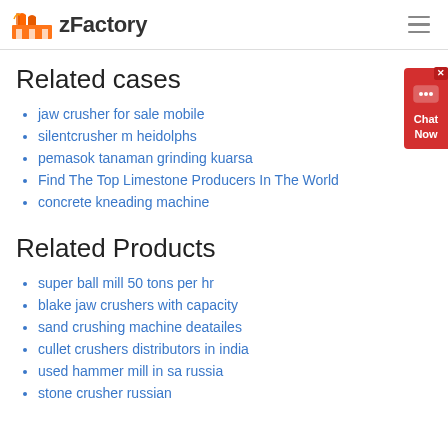zFactory
Related cases
jaw crusher for sale mobile
silentcrusher m heidolphs
pemasok tanaman grinding kuarsa
Find The Top Limestone Producers In The World
concrete kneading machine
Related Products
super ball mill 50 tons per hr
blake jaw crushers with capacity
sand crushing machine deatailes
cullet crushers distributors in india
used hammer mill in sa russia
stone crusher russian